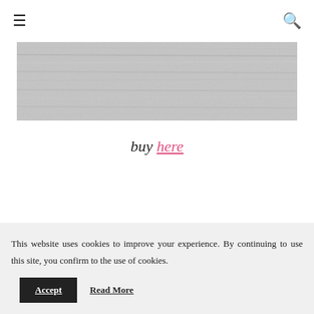≡  🔍
[Figure (photo): A horizontal rectangular image showing a wood grain texture in light gray tones, resembling a weathered wooden surface.]
buy here
This website uses cookies to improve your experience. By continuing to use this site, you confirm to the use of cookies. Accept  Read More